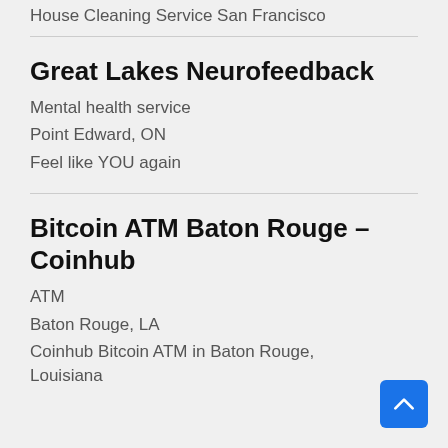House Cleaning Service San Francisco
Great Lakes Neurofeedback
Mental health service
Point Edward, ON
Feel like YOU again
Bitcoin ATM Baton Rouge – Coinhub
ATM
Baton Rouge, LA
Coinhub Bitcoin ATM in Baton Rouge, Louisiana